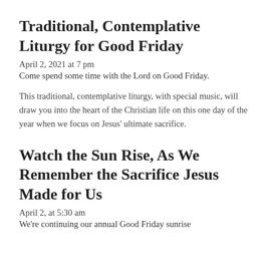Traditional, Contemplative Liturgy for Good Friday
April 2, 2021 at 7 pm
Come spend some time with the Lord on Good Friday.
This traditional, contemplative liturgy, with special music, will draw you into the heart of the Christian life on this one day of the year when we focus on Jesus' ultimate sacrifice.
Watch the Sun Rise, As We Remember the Sacrifice Jesus Made for Us
April 2, at 5:30 am
We're continuing our annual Good Friday sunrise